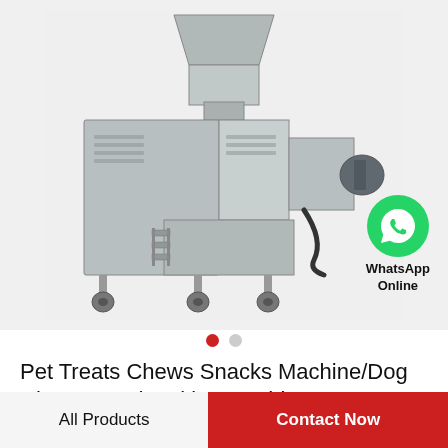[Figure (photo): Industrial pet food/treat extrusion machine with hopper funnel on top, stainless steel body, conveyor and motor attachments, on wheels, shown on light gray background]
[Figure (logo): WhatsApp green circle icon with phone handset, labeled 'WhatsApp Online' below]
Pet Treats Chews Snacks Machine/Dog Chews Food Making Machine
All Products
Contact Now